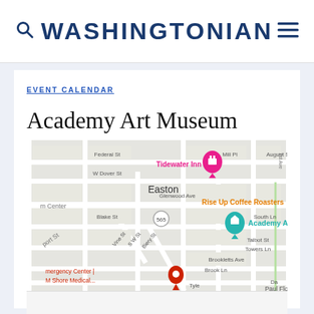WASHINGTONIAN
EVENT CALENDAR
Academy Art Museum
[Figure (map): Google Maps screenshot showing the location of Academy Art Museum in Easton, Maryland. The map shows surrounding streets including Federal St, W Dover St, Glenwood Ave, Blake St, Vine St, Biery St, Talbot St, Towers Ln, Brookletts Ave, Brook Ln. Notable landmarks shown include Tidewater Inn (pink marker with hotel icon), Academy Art Museum (teal marker with museum icon), Rise Up Coffee Roasters (orange text), and UM Shore Medical Emergency Center (red location pin). Route 565 is marked on the map.]